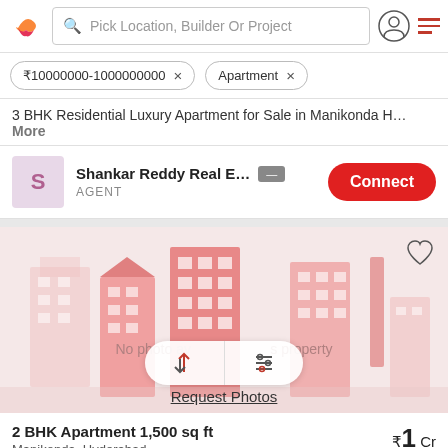[Figure (screenshot): Real estate app navigation bar with logo, search field 'Pick Location, Builder Or Project', user icon and hamburger menu]
₹10000000-1000000000 × Apartment ×
3 BHK Residential Luxury Apartment for Sale in Manikonda H… More
Shankar Reddy Real E… — AGENT
[Figure (illustration): Property listing card showing a placeholder building illustration with 'No photo available for this property', sort/filter icons, and 'Request Photos' link]
2 BHK Apartment 1,500 sq ft
Manikonda, Hyderabad
₹1 Cr